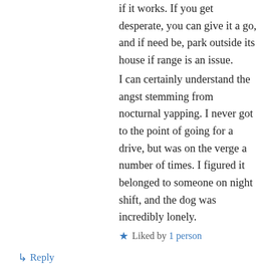if it works. If you get desperate, you can give it a go, and if need be, park outside its house if range is an issue.
I can certainly understand the angst stemming from nocturnal yapping. I never got to the point of going for a drive, but was on the verge a number of times. I figured it belonged to someone on night shift, and the dog was incredibly lonely.
Liked by 1 person
↪ Reply
Glen available on May 26, 2019 at 8:46 am
The reason you didn't hear that yapping dog Rog was it came from a street located near my OLD